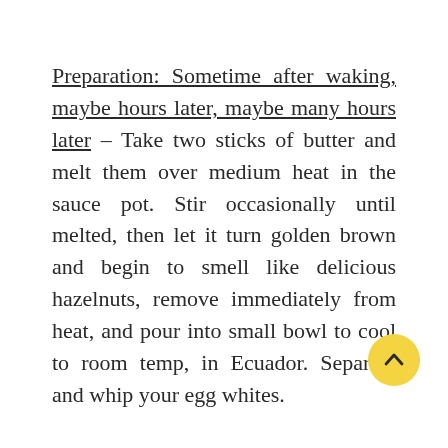Preparation: Sometime after waking, maybe hours later, maybe many hours later – Take two sticks of butter and melt them over medium heat in the sauce pot. Stir occasionally until melted, then let it turn golden brown and begin to smell like delicious hazelnuts, remove immediately from heat, and pour into small bowl to cool to room temp, in Ecuador. Separate and whip your egg whites.
Heat up your iron skillet,  and add the yolks when it's smoking. I waste nothing. Reduce heat and let them cook on medium heat until they're dry and browned. Use those for